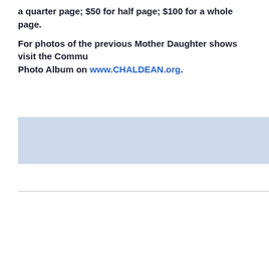a quarter page; $50 for half page; $100 for a whole page.
For photos of the previous Mother Daughter shows visit the Community Photo Album on www.CHALDEAN.org.
[Figure (other): Light blue shaded rectangle banner]